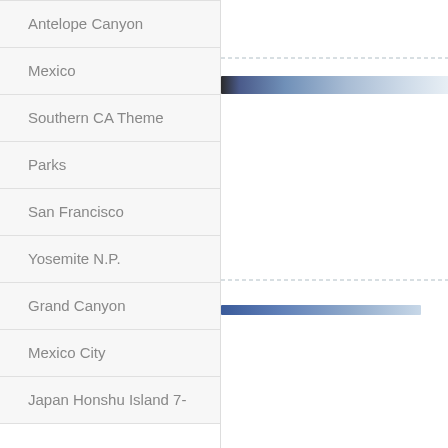Antelope Canyon
Mexico
Southern CA Theme
Parks
San Francisco
Yosemite N.P.
Grand Canyon
Mexico City
Japan Honshu Island 7-
[Figure (infographic): Horizontal bars/stripes on right side of page, partially visible, with dashed lines above some bars. One bar near top is dark with blue gradient (associated with Mexico row), one bar near bottom is a lighter blue gradient (associated with Grand Canyon row).]